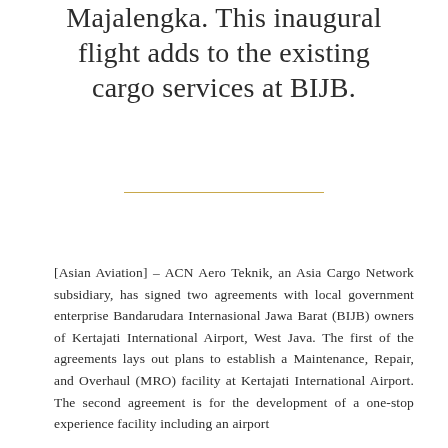Majalengka. This inaugural flight adds to the existing cargo services at BIJB.
[Asian Aviation] – ACN Aero Teknik, an Asia Cargo Network subsidiary, has signed two agreements with local government enterprise Bandarudara Internasional Jawa Barat (BIJB) owners of Kertajati International Airport, West Java. The first of the agreements lays out plans to establish a Maintenance, Repair, and Overhaul (MRO) facility at Kertajati International Airport. The second agreement is for the development of a one-stop experience facility including an airport